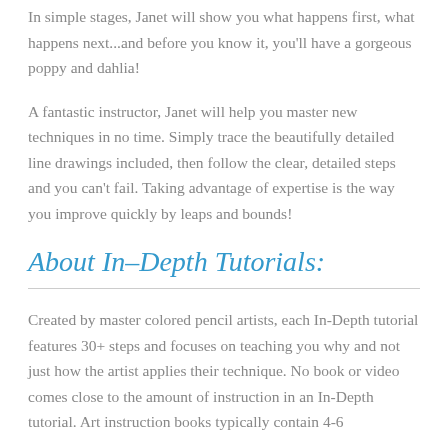In simple stages, Janet will show you what happens first, what happens next...and before you know it, you'll have a gorgeous poppy and dahlia!
A fantastic instructor, Janet will help you master new techniques in no time. Simply trace the beautifully detailed line drawings included, then follow the clear, detailed steps and you can't fail. Taking advantage of expertise is the way you improve quickly by leaps and bounds!
About In-Depth Tutorials:
Created by master colored pencil artists, each In-Depth tutorial features 30+ steps and focuses on teaching you why and not just how the artist applies their technique. No book or video comes close to the amount of instruction in an In-Depth tutorial. Art instruction books typically contain 4-6